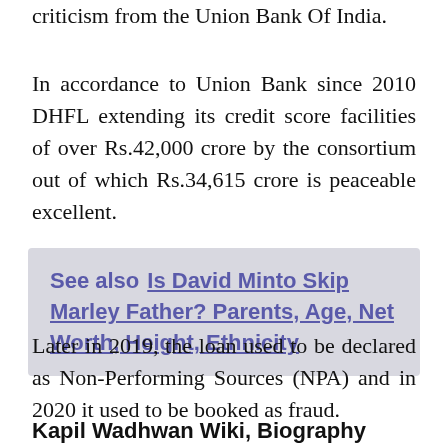criticism from the Union Bank Of India.
In accordance to Union Bank since 2010 DHFL extending its credit score facilities of over Rs.42,000 crore by the consortium out of which Rs.34,615 crore is peaceable excellent.
See also  Is David Minto Skip Marley Father? Parents, Age, Net Worth, Height, Ethnicity
Later in 2019, the loan used to be declared as Non-Performing Sources (NPA) and in 2020 it used to be booked as fraud.
Kapil Wadhwan Wiki, Biography